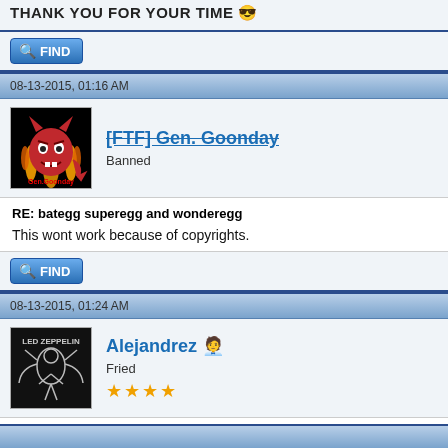THANK YOU FOR YOUR TIME 😎
FIND
08-13-2015, 01:16 AM
[FTF] Gen. Goonday — Banned
RE: bategg superegg and wonderegg
This wont work because of copyrights.
FIND
08-13-2015, 01:24 AM
Alejandrez — Fried ★★★★
RE: bategg superegg and wonderegg
Someone suggested Iron Egg, but same problem... 🙁 I would like it.